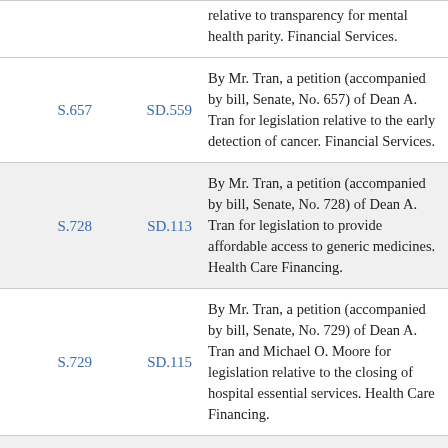| Bill | SD | Description |
| --- | --- | --- |
|  |  | relative to transparency for mental health parity. Financial Services. |
| S.657 | SD.559 | By Mr. Tran, a petition (accompanied by bill, Senate, No. 657) of Dean A. Tran for legislation relative to the early detection of cancer. Financial Services. |
| S.728 | SD.113 | By Mr. Tran, a petition (accompanied by bill, Senate, No. 728) of Dean A. Tran for legislation to provide affordable access to generic medicines. Health Care Financing. |
| S.729 | SD.115 | By Mr. Tran, a petition (accompanied by bill, Senate, No. 729) of Dean A. Tran and Michael O. Moore for legislation relative to the closing of hospital essential services. Health Care Financing. |
| S.729 | SD.116 | By Mr. Tran, a petition |